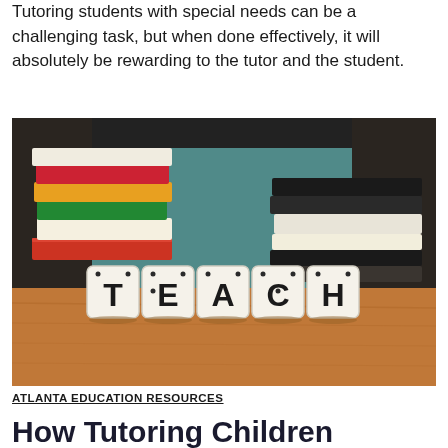Tutoring students with special needs can be a challenging task, but when done effectively, it will absolutely be rewarding to the tutor and the student.
[Figure (photo): Photo of letter dice spelling out TEACH on a wooden surface, with stacks of books blurred in the background.]
ATLANTA EDUCATION RESOURCES
How Tutoring Children